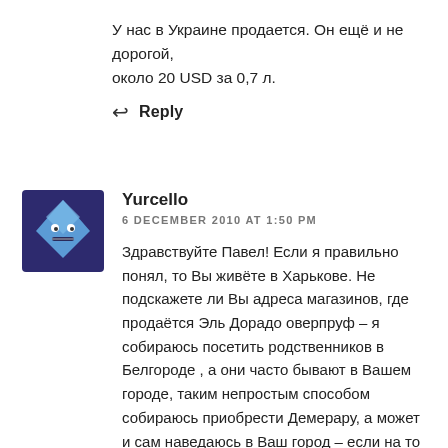У нас в Украине продается. Он ещё и не дорогой, около 20 USD за 0,7 л.
↩ Reply
Yurcello
6 DECEMBER 2010 AT 1:50 PM
[Figure (illustration): Avatar icon: blue diamond-shaped cartoon character with eyes and mouth on dark blue/purple square background]
Здравствуйте Павел! Если я правильно понял, то Вы живёте в Харькове. Не подскажете ли Вы адреса магазинов, где продаётся Эль Дорадо оверпруф – я собираюсь посетить родственников в Белгороде , а они часто бывают в Вашем городе, таким непростым способом собираюсь приобрести Демерару, а может и сам наведаюсь в Ваш город – если на то воля Божья будет. Спасибо за консультации ещё раз